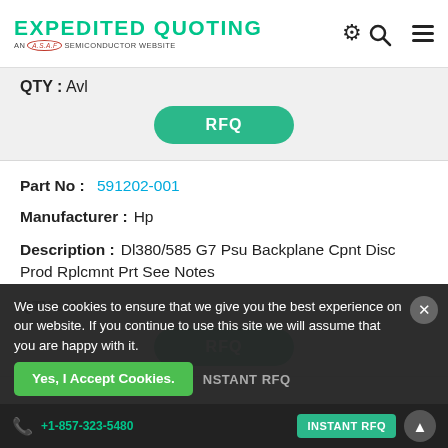EXPEDITED QUOTING — AN A.S.A.P SEMICONDUCTOR WEBSITE
QTY: Avl
RFQ
Part No: 591202-001
Manufacturer: Hp
Description: Dl380/585 G7 Psu Backplane Cpnt Disc Prod Rplcmnt Prt See Notes
QTY: Avl
RFQ
We use cookies to ensure that we give you the best experience on our website. If you continue to use this site we will assume that you are happy with it.
Yes, I Accept Cookies.
+1-857-323-5480  INSTANT RFQ